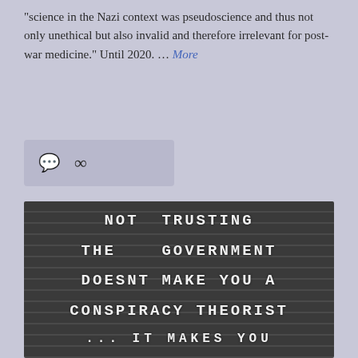"science in the Nazi context was pseudoscience and thus not only unethical but also invalid and therefore irrelevant for post-war medicine." Until 2020. … More
[Figure (photo): Letter board sign reading: NOT TRUSTING THE GOVERNMENT DOESNT MAKE YOU A CONSPIRACY THEORIST ... IT MAKES YOU (text cuts off)]